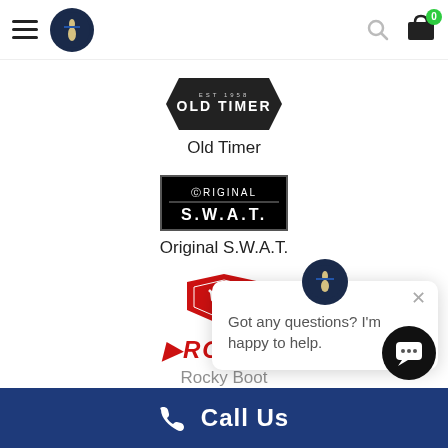Navigation header with hamburger menu, logo, search icon, and cart
[Figure (logo): Old Timer brand logo - dark hexagon shield shape with 'OLD TIMER' text]
Old Timer
[Figure (logo): Original S.W.A.T. brand logo - black rectangle with white text]
Original S.W.A.T.
[Figure (logo): Partial red shield logo (partially obscured by chat popup)]
[Figure (logo): Rocky brand logo in red italic text]
Rocky Boot
[Figure (screenshot): Chat popup widget with avatar icon and message: Got any questions? I'm happy to help.]
Call Us